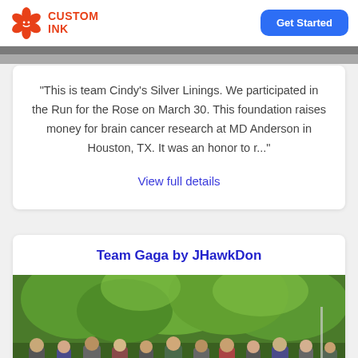[Figure (logo): Custom Ink logo with orange flower mascot and orange bold text 'CUSTOM INK']
[Figure (other): Blue 'Get Started' button in the header]
[Figure (photo): Partial cropped image strip at top of the first card area]
"This is team Cindy's Silver Linings. We participated in the Run for the Rose on March 30. This foundation raises money for brain cancer research at MD Anderson in Houston, TX. It was an honor to r..."
View full details
Team Gaga by JHawkDon
[Figure (photo): Outdoor group photo of people standing under leafy green trees, partial view cropped at bottom]